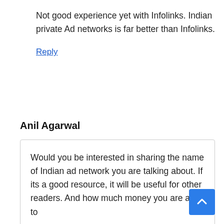Not good experience yet with Infolinks. Indian private Ad networks is far better than Infolinks.
Reply
Anil Agarwal
Would you be interested in sharing the name of Indian ad network you are talking about. If its a good resource, it will be useful for other readers. And how much money you are able to